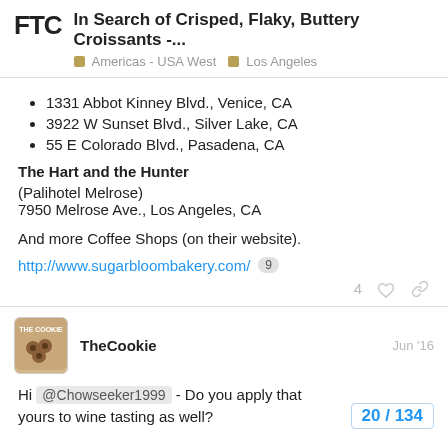FTC | In Search of Crisped, Flaky, Buttery Croissants -... | Americas - USA West | Los Angeles
1331 Abbot Kinney Blvd., Venice, CA
3922 W Sunset Blvd., Silver Lake, CA
55 E Colorado Blvd., Pasadena, CA
The Hart and the Hunter
(Palihotel Melrose)
7950 Melrose Ave., Los Angeles, CA
And more Coffee Shops (on their website).
http://www.sugarbloombakery.com/ 9
TheCookie   Jun '16
Hi @Chowseeker1999 - Do you apply that yours to wine tasting as well?
20 / 134